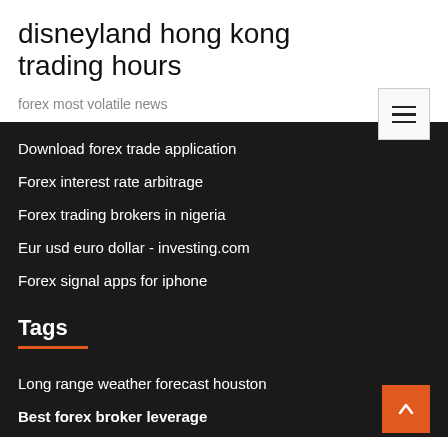disneyland hong kong trading hours
forex most volatile news
Download forex trade application
Forex interest rate arbitrage
Forex trading brokers in nigeria
Eur usd euro dollar - investing.com
Forex signal apps for iphone
Tags
Long range weather forecast houston
Best forex broker leverage